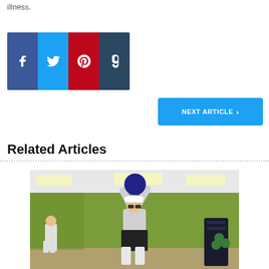illness.
[Figure (infographic): Social media share buttons: Facebook (blue), Twitter (light blue), Pinterest (red), Tumblr (dark navy)]
NEXT ARTICLE >
Related Articles
[Figure (photo): A man in a gym holding a medicine ball above his head, wearing a white cap and grey shirt. Green walls, gym equipment visible in background.]